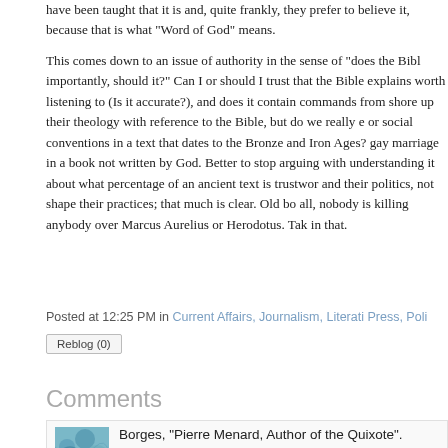have been taught that it is and, quite frankly, they prefer to believe it, because that is what "Word of God" means.
This comes down to an issue of authority in the sense of "does the Bible have any?" and, more importantly, should it?" Can I or should I trust that the Bible explains or records things actually worth listening to (Is it accurate?), and does it contain commands from God? Many people shore up their theology with reference to the Bible, but do we really enforce ancient religious laws or social conventions in a text that dates to the Bronze and Iron Ages? There is no point arguing gay marriage in a book not written by God. Better to stop arguing with those who have an imperfect understanding it about what percentage of an ancient text is trustworthy. Religions shape politics and their politics, not shape their practices; that much is clear. Old books are interesting; after all, nobody is killing anybody over Marcus Aurelius or Herodotus. Take some comfort in that.
Posted at 12:25 PM in Current Affairs, Journalism, Literati Press, Poli
Reblog (0)
Comments
Borges, "Pierre Menard, Author of the Quixote".